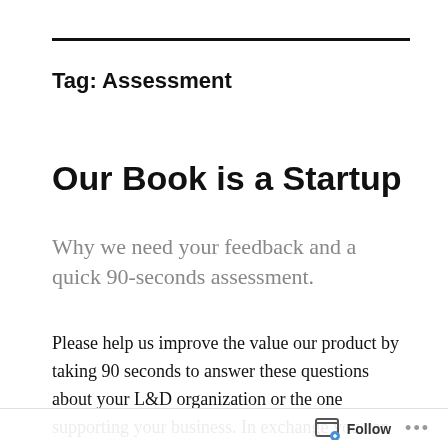Tag: Assessment
Our Book is a Startup
Why we need your feedback and a quick 90-seconds assessment.
Please help us improve the value our product by taking 90 seconds to answer these questions about your L&D organization or the one supporting your business. In exchange you can be certain that our product, both this blog and
Follow